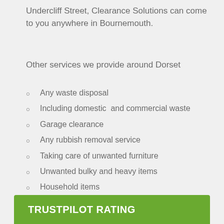Undercliff Street, Clearance Solutions can come to you anywhere in Bournemouth.
Other services we provide around Dorset
Any waste disposal
Including domestic  and commercial waste
Garage clearance
Any rubbish removal service
Taking care of unwanted furniture
Unwanted bulky and heavy items
Household items
Rubbish clearance from garage
TRUSTPILOT RATING